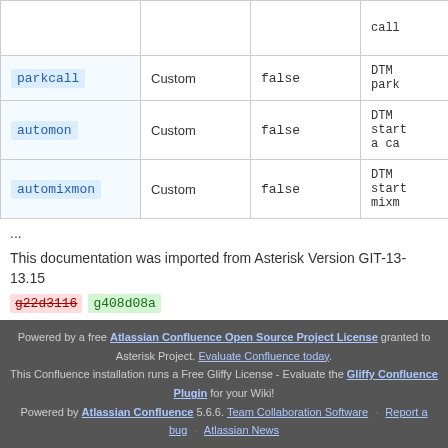| Name | Type | Default | Description |
| --- | --- | --- | --- |
|  |  |  | call |
| parkcall | Custom | false | DTM park |
| automon | Custom | false | DTM start a ca |
| automixmon | Custom | false | DTM start mixm |
...
This documentation was imported from Asterisk Version GIT-13-13.15
g22d3116 g408d08a
Powered by a free Atlassian Confluence Open Source Project License granted to Asterisk Project. Evaluate Confluence today. This Confluence installation runs a Free Gliffy License - Evaluate the Gliffy Confluence Plugin for your Wiki! Powered by Atlassian Confluence 5.6.6. Team Collaboration Software · Report a bug · Atlassian News